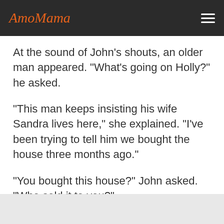AmoMama
At the sound of John's shouts, an older man appeared. "What's going on Holly?" he asked.
"This man keeps insisting his wife Sandra lives here," she explained. "I've been trying to tell him we bought the house three months ago."
"You bought this house?" John asked. "Who sold it to you?"